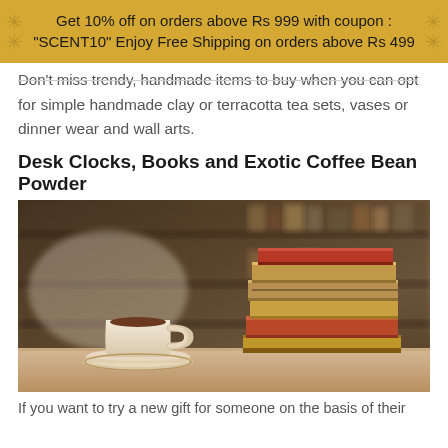Get 10% off on orders above Rs 999 with coupon : "SCENT10" Enjoy Free Shipping on orders above Rs 499
Don't miss trendy, handmade items to buy when you can opt for simple handmade clay or terracotta tea sets, vases or dinner wear and wall arts.
Desk Clocks, Books and Exotic Coffee Bean Powder
[Figure (photo): Photo of a stack of books on a table beside a white coffee cup and saucer, with blurred bookshelves in the background]
If you want to try a new gift for someone on the basis of their